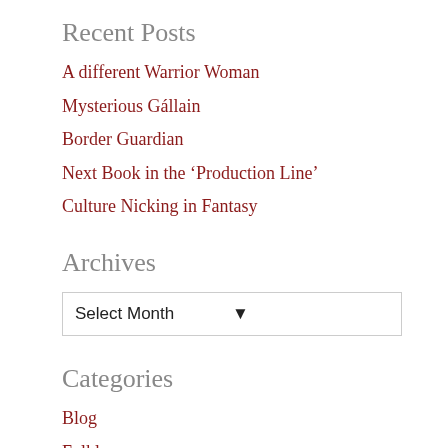Recent Posts
A different Warrior Woman
Mysterious Gállain
Border Guardian
Next Book in the 'Production Line'
Culture Nicking in Fantasy
Archives
Select Month
Categories
Blog
Folklore
Folklore/Mythology
Mise (Me)